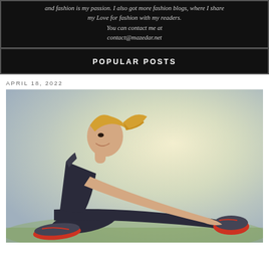and fashion is my passion. I also got more fashion blogs, where I share my Love for fashion with my readers. You can contact me at contact@mazedar.net
POPULAR POSTS
APRIL 18, 2022
[Figure (photo): A smiling blonde woman in athletic wear (dark tank top and leggings with red accents) sitting on grass and stretching forward to touch her foot/shoe, which has red laces. Bright outdoor background with soft bokeh lighting.]